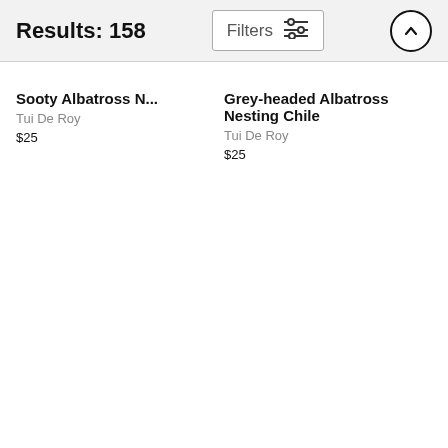Results: 158
Sooty Albatross N...
Tui De Roy
$25
Grey-headed Albatross Nesting Chile
Tui De Roy
$25